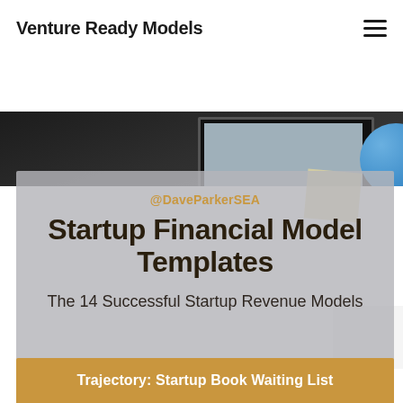Venture Ready Models
[Figure (photo): Dark background hero image showing a monitor/screen on a desk with a blue circular graphic element on the right side]
@DaveParkerSEA
Startup Financial Model Templates
The 14 Successful Startup Revenue Models
Trajectory: Startup Book Waiting List